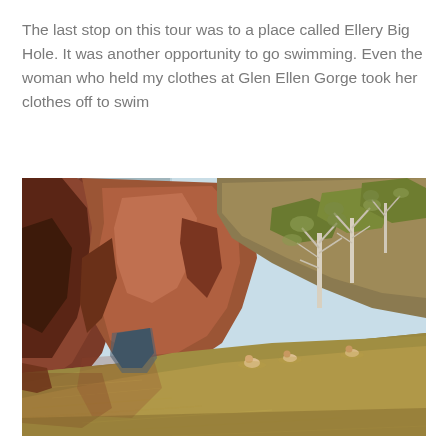The last stop on this tour was to a place called Ellery Big Hole.  It was another opportunity to go swimming.  Even the woman who held my clothes at Glen Ellen Gorge took her clothes off to swim
[Figure (photo): Outdoor photograph of Ellery Big Hole waterhole in Australia. Red-orange rocky cliff faces and gorge walls rise on the left and center, with sparse eucalyptus (ghost gum) trees on the right hillside. The foreground and middle ground show a broad, calm waterhole with brownish-green water. Several swimmers are visible in the water near the center-right of the image. The sky is light blue and partly visible above the cliffs.]